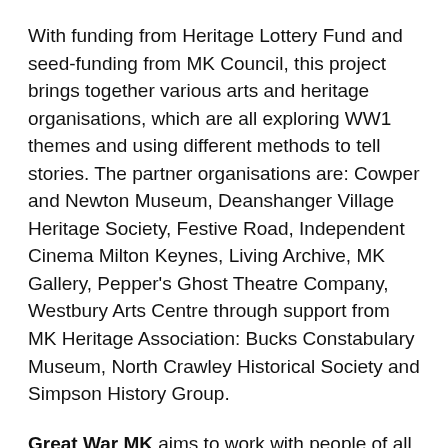With funding from Heritage Lottery Fund and seed-funding from MK Council, this project brings together various arts and heritage organisations, which are all exploring WW1 themes and using different methods to tell stories. The partner organisations are: Cowper and Newton Museum, Deanshanger Village Heritage Society, Festive Road, Independent Cinema Milton Keynes, Living Archive, MK Gallery, Pepper's Ghost Theatre Company, Westbury Arts Centre through support from MK Heritage Association: Bucks Constabulary Museum, North Crawley Historical Society and Simpson History Group.
Great War MK aims to work with people of all ages and abilities, providing opportunities to take part in workshops, and activities are now developing. To find out more see our events page and Facebook or follow @AHA_MK #GreatWarMK on Twitter. You can also